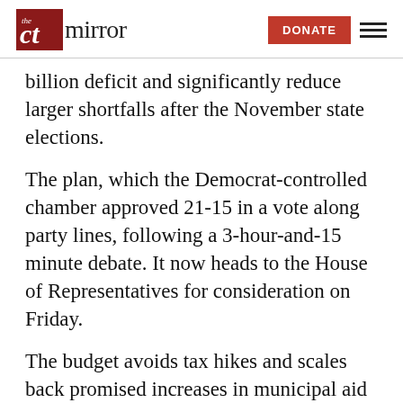the ct mirror — DONATE
billion deficit and significantly reduce larger shortfalls after the November state elections.
The plan, which the Democrat-controlled chamber approved 21-15 in a vote along party lines, following a 3-hour-and-15 minute debate. It now heads to the House of Representatives for consideration on Friday.
The budget avoids tax hikes and scales back promised increases in municipal aid and transportation by $125 million and $50 million, respectively, while cutting funds for